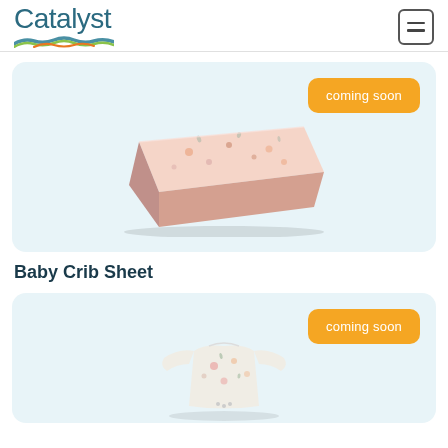[Figure (logo): Catalyst brand logo with wave graphic and hamburger menu icon]
[Figure (photo): Baby crib mattress with floral pattern cover, light pink with small prints, shown at an angle. A coming soon orange button overlays the top right.]
Baby Crib Sheet
[Figure (photo): Baby onesie/romper with floral pattern, light colored with small flower prints, shown at an angle. A coming soon orange button overlays the top right.]